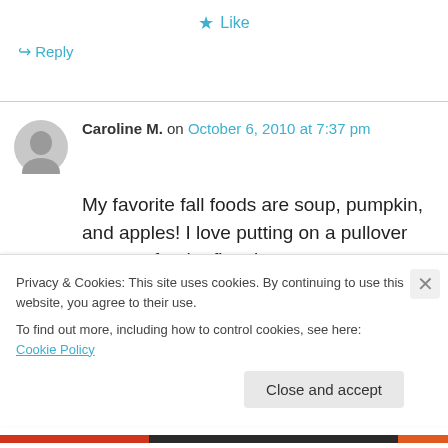★ Like
↳ Reply
Caroline M. on October 6, 2010 at 7:37 pm
My favorite fall foods are soup, pumpkin, and apples! I love putting on a pullover sweater for the first time.
Privacy & Cookies: This site uses cookies. By continuing to use this website, you agree to their use.
To find out more, including how to control cookies, see here: Cookie Policy
Close and accept